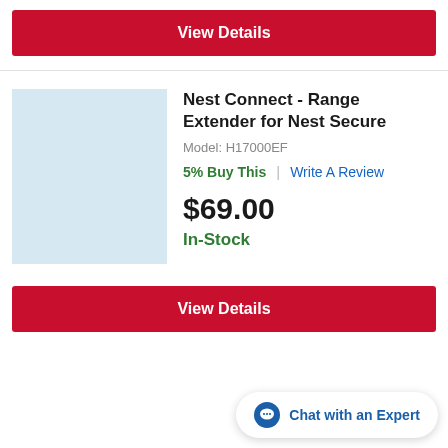View Details
[Figure (photo): Product image placeholder — light blue square for Nest Connect Range Extender]
Nest Connect - Range Extender for Nest Secure
Model: H17000EF
5% Buy This  |  Write A Review
$69.00
In-Stock
View Details
Chat with an Expert